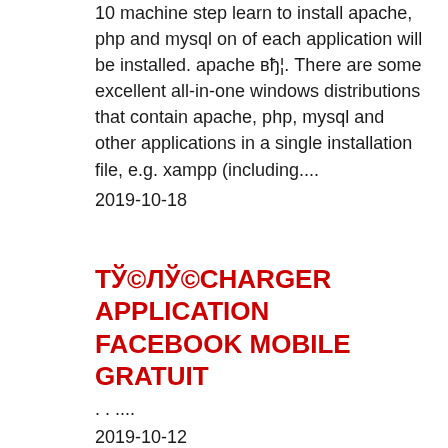10 machine step learn to install apache, php and mysql on of each application will be installed. apache вђ¦. There are some excellent all-in-one windows distributions that contain apache, php, mysql and other applications in a single installation file, e.g. xampp (including....
2019-10-18
ТЎ©ЛЎ©CHARGER APPLICATION FACEBOOK MOBILE GRATUIT
. . ....
2019-10-12
WHERE IS APPLICATION